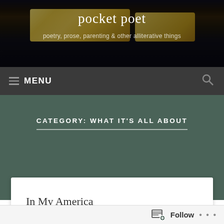[Figure (photo): Blog header banner with dark background showing illuminated panels and silhouette figure, with blog title 'pocket poet' and subtitle 'poetry, prose, parenting & other alliterative things']
pocket poet
poetry, prose, parenting & other alliterative things
≡ MENU
CATEGORY: WHAT IT'S ALL ABOUT
In My America
Follow • • •